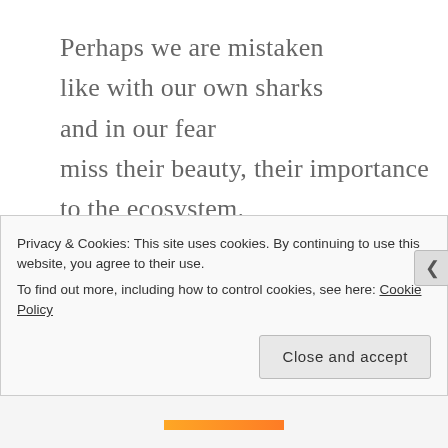Perhaps we are mistaken
like with our own sharks
and in our fear
miss their beauty, their importance
to the ecosystem.
They have far more to fear from us
and their deaths at our hands are legion.

Our fears are better placed not in some
ancient, surviving mega shark
but in another Don
whose ego and evil
Privacy & Cookies: This site uses cookies. By continuing to use this website, you agree to their use.
To find out more, including how to control cookies, see here: Cookie Policy
Close and accept